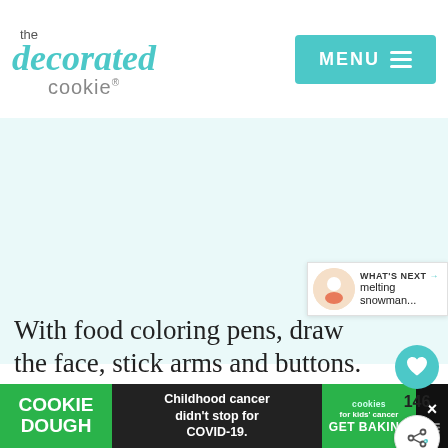the decorated cookie — MENU
[Figure (photo): Main content image area, light teal/white background, appears to show a cookie decorating tutorial]
[Figure (infographic): Floating widget with heart icon (146 likes) and share button]
[Figure (infographic): What's Next panel with thumbnail and text: melting snowman...]
With food coloring pens, draw the face, stick arms and buttons.
[Figure (infographic): Advertisement bar: COOKIE DOUGH — Childhood cancer didn't stop for COVID-19. — cookies for kids' cancer GET BAKING — close button]